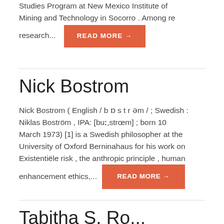Studies Program at New Mexico Institute of Mining and Technology in Socorro . Among re research...
READ MORE →
Nick Bostrom
Nick Bostrom ( English / b ɒ s t r əm / ; Swedish : Niklas Boström , IPA: [buː,strœm] ; born 10 March 1973) [1] is a Swedish philosopher at the University of Oxford Berninahaus for his work on Existentiële risk , the anthropic principle , human enhancement ethics,...
READ MORE →
Tabitha S. Ro...